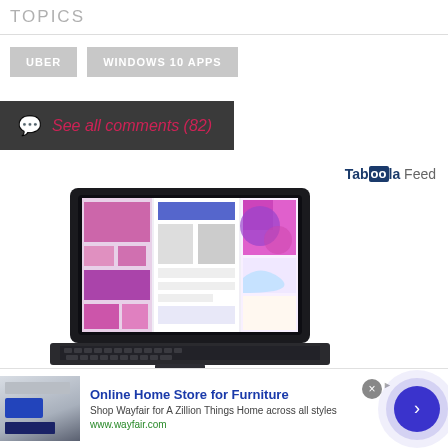TOPICS
UBER
WINDOWS 10 APPS
See all comments (82)
Taboola Feed
[Figure (photo): Laptop computer with colorful screen showing design application with pink and purple interface elements]
[Figure (photo): Advertisement: Online Home Store for Furniture – Shop Wayfair for A Zillion Things Home across all styles. www.wayfair.com]
Online Home Store for Furniture
Shop Wayfair for A Zillion Things Home across all styles
www.wayfair.com